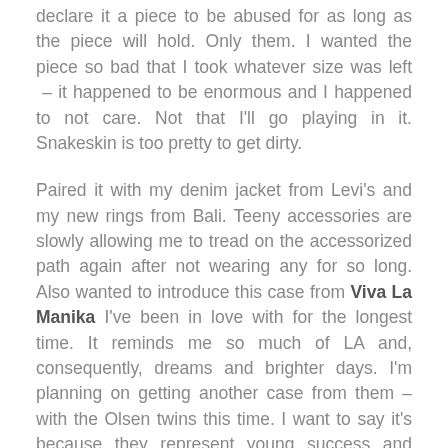declare it a piece to be abused for as long as the piece will hold. Only them. I wanted the piece so bad that I took whatever size was left – it happened to be enormous and I happened to not care. Not that I'll go playing in it. Snakeskin is too pretty to get dirty.
Paired it with my denim jacket from Levi's and my new rings from Bali. Teeny accessories are slowly allowing me to tread on the accessorized path again after not wearing any for so long. Also wanted to introduce this case from Viva La Manika I've been in love with for the longest time. It reminds me so much of LA and, consequently, dreams and brighter days. I'm planning on getting another case from them – with the Olsen twins this time. I want to say it's because they represent young success and serve as reminders of the hustle but that would be pushing it. It's cute and unique.
Oh and if you were wondering, I actually had no